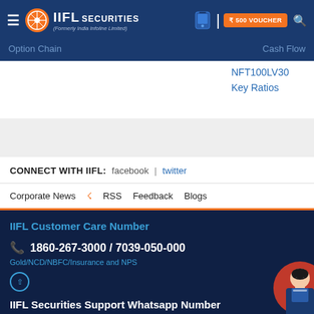[Figure (logo): IIFL Securities logo with hamburger menu, phone icon, ₹500 voucher button, and search icon on dark blue header]
Option Chain | Cash Flow
NFT100LV30
Key Ratios
CONNECT WITH IIFL:   facebook  |  twitter
Corporate News   RSS   Feedback   Blogs
IIFL Customer Care Number
1860-267-3000 / 7039-050-000
Gold/NCD/NBFC/Insurance and NPS
IIFL Securities Support Whatsapp Number